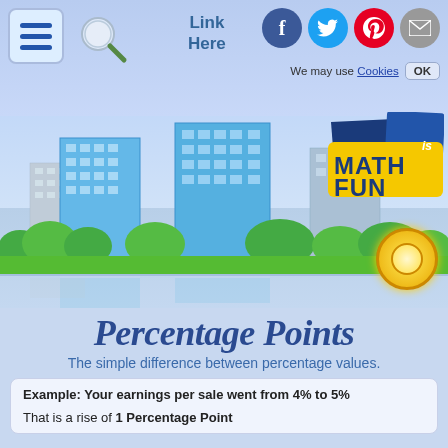Link Here | Facebook | Twitter | Pinterest | Email | We may use Cookies OK
[Figure (illustration): City skyline with blue glass skyscrapers, green trees, reflection in water, and Math is Fun logo in top right corner]
Percentage Points
The simple difference between percentage values.
Example: Your earnings per sale went from 4% to 5%
That is a rise of 1 Percentage Point